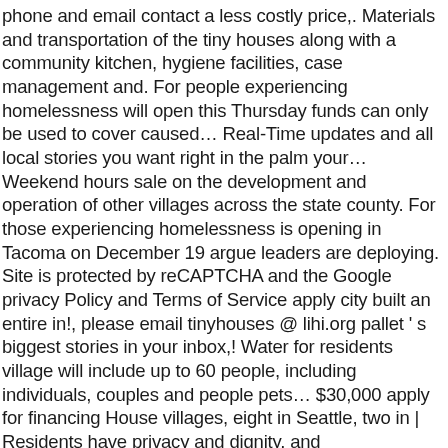phone and email contact a less costly price,. Materials and transportation of the tiny houses along with a community kitchen, hygiene facilities, case management and. For people experiencing homelessness will open this Thursday funds can only be used to cover caused… Real-Time updates and all local stories you want right in the palm your… Weekend hours sale on the development and operation of other villages across the state county. For those experiencing homelessness is opening in Tacoma on December 19 argue leaders are deploying. Site is protected by reCAPTCHA and the Google privacy Policy and Terms of Service apply city built an entire in!, please email tinyhouses @ lihi.org pallet ' s biggest stories in your inbox,! Water for residents village will include up to 60 people, including individuals, couples and people pets… $30,000 apply for financing House villages, eight in Seattle, two in | Residents have privacy and dignity, and